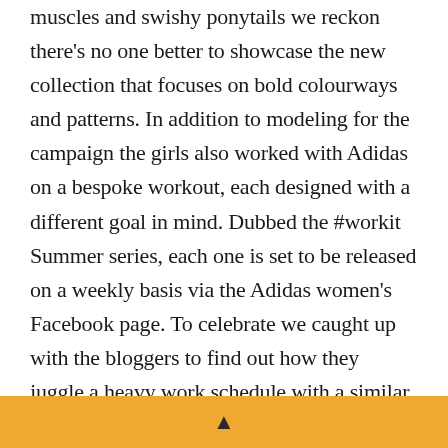muscles and swishy ponytails we reckon there's no one better to showcase the new collection that focuses on bold colourways and patterns. In addition to modeling for the campaign the girls also worked with Adidas on a bespoke workout, each designed with a different goal in mind. Dubbed the #workit Summer series, each one is set to be released on a weekly basis via the Adidas women's Facebook page. To celebrate we caught up with the bloggers to find out how they juggle a heavy work schedule with a similar heavy working out schedule. Prepare to be inspired...
Describe your sportswear style?
Cat Moffan: 'I'm a full-length leggings with sports bra kind of girl. Normally with no particular kind of...